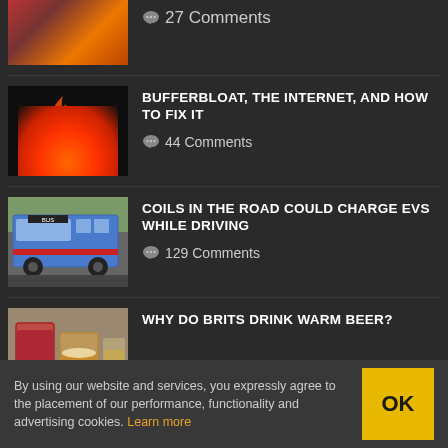27 Comments
BUFFERBLOAT, THE INTERNET, AND HOW TO FIX IT — 44 Comments
COILS IN THE ROAD COULD CHARGE EVS WHILE DRIVING — 129 Comments
WHY DO BRITS DRINK WARM BEER?
By using our website and services, you expressly agree to the placement of our performance, functionality and advertising cookies. Learn more